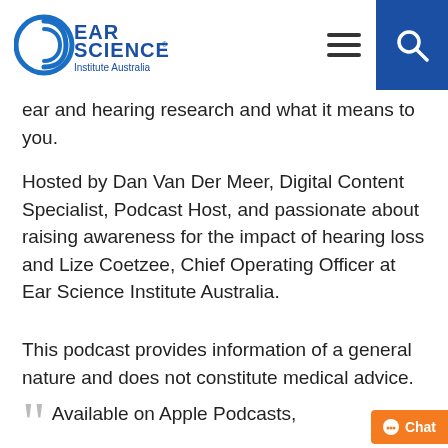Ear Science Institute Australia
ear and hearing research and what it means to you.
Hosted by Dan Van Der Meer, Digital Content Specialist, Podcast Host, and passionate about raising awareness for the impact of hearing loss and Lize Coetzee, Chief Operating Officer at Ear Science Institute Australia.
This podcast provides information of a general nature and does not constitute medical advice.
Available on Apple Podcasts, Google Podcasts & Spotify